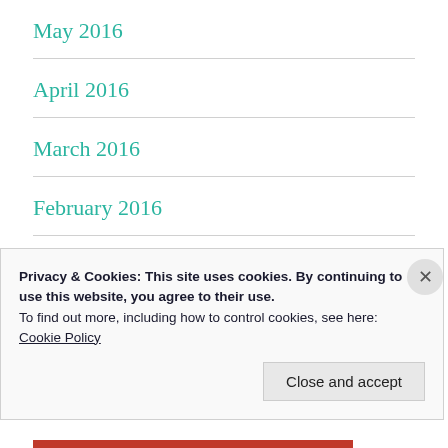May 2016
April 2016
March 2016
February 2016
January 2016
December 2015
Privacy & Cookies: This site uses cookies. By continuing to use this website, you agree to their use.
To find out more, including how to control cookies, see here:
Cookie Policy
Close and accept